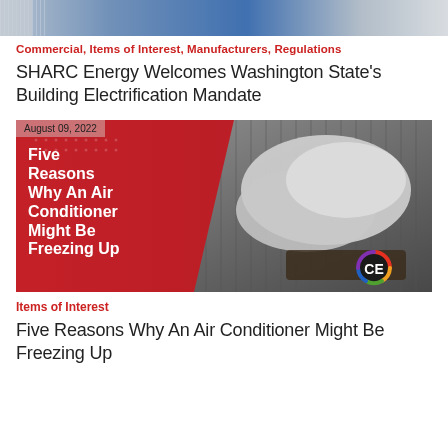[Figure (photo): Decorative header banner with blue and gray gradient pattern, resembling a data/chart visualization strip]
Commercial, Items of Interest, Manufacturers, Regulations
SHARC Energy Welcomes Washington State’s Building Electrification Mandate
[Figure (illustration): Article thumbnail image dated August 09, 2022. Red panel on left with bold white text reading 'Five Reasons Why An Air Conditioner Might Be Freezing Up'. Right side shows a photograph of gloved hands working on an AC unit. CE logo in bottom right corner.]
Items of Interest
Five Reasons Why An Air Conditioner Might Be Freezing Up